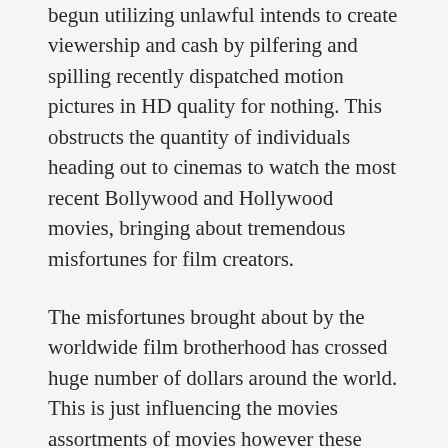begun utilizing unlawful intends to create viewership and cash by pilfering and spilling recently dispatched motion pictures in HD quality for nothing. This obstructs the quantity of individuals heading out to cinemas to watch the most recent Bollywood and Hollywood movies, bringing about tremendous misfortunes for film creators.
The misfortunes brought about by the worldwide film brotherhood has crossed huge number of dollars around the world. This is just influencing the movies assortments of movies however these theft locales are additionally answerable for overstepping laws of numerous nations. Unlawful robbery entryways like Mp4Moviez make an honest effort to draw in crowds by enticing them with recently delivered HD Bollywood, Hollywood, and other language films for nothing. These spilled films are accessible on their site even before their